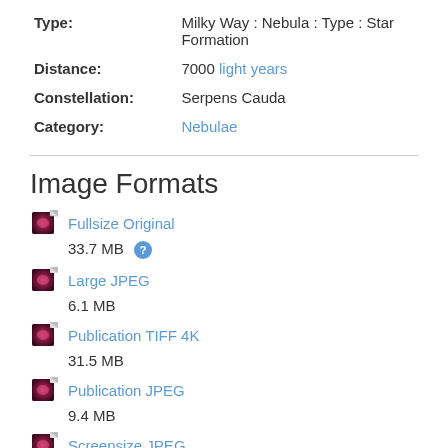| Field | Value |
| --- | --- |
| Type: | Milky Way : Nebula : Type : Star Formation |
| Distance: | 7000 light years |
| Constellation: | Serpens Cauda |
| Category: | Nebulae |
Image Formats
Fullsize Original — 33.7 MB
Large JPEG — 6.1 MB
Publication TIFF 4K — 31.5 MB
Publication JPEG — 9.4 MB
Screensize JPEG — 264.0 KB
Zoomable
Zoomable